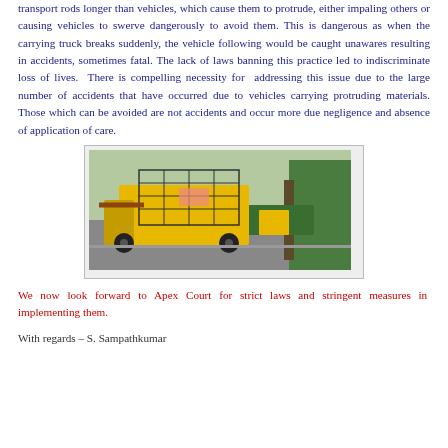transport rods longer than vehicles, which cause them to protrude, either impaling others or causing vehicles to swerve dangerously to avoid them. This is dangerous as when the carrying truck breaks suddenly, the vehicle following would be caught unawares resulting in accidents, sometimes fatal. The lack of laws banning this practice led to indiscriminate loss of lives. There is compelling necessity for addressing this issue due to the large number of accidents that have occurred due to vehicles carrying protruding materials. Those which can be avoided are not accidents and occur more due negligence and absence of application of care.
[Figure (photo): Photograph of a yellow truck/vehicle on a road with protruding cage/frame structure, trees visible in background]
We now look forward to Apex Court for strict laws and stringent measures in implementing them.
With regards – S. Sampathkumar